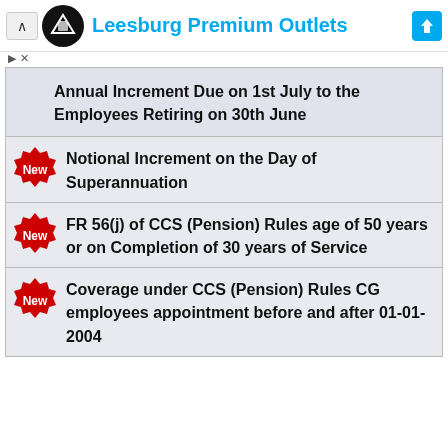Leesburg Premium Outlets
Annual Increment Due on 1st July to the Employees Retiring on 30th June
Notional Increment on the Day of Superannuation
FR 56(j) of CCS (Pension) Rules age of 50 years or on Completion of 30 years of Service
Coverage under CCS (Pension) Rules CG employees appointment before and after 01-01-2004